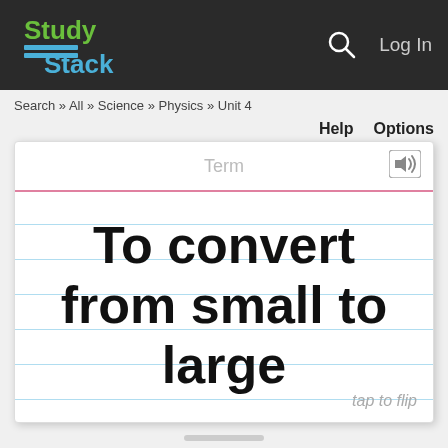StudyStack — Log In
Search » All » Science » Physics » Unit 4
Help   Options
Term
To convert from small to large
tap to flip